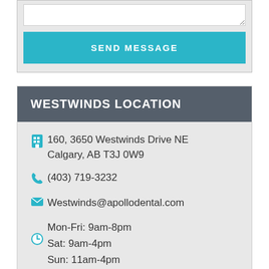SEND MESSAGE
WESTWINDS LOCATION
160, 3650 Westwinds Drive NE
Calgary, AB T3J 0W9
(403) 719-3232
Westwinds@apollodental.com
Mon-Fri: 9am-8pm
Sat: 9am-4pm
Sun: 11am-4pm